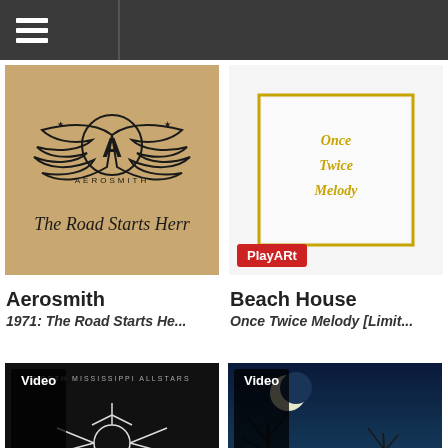Navigation bar with hamburger menu
[Figure (photo): Aerosmith '1971: The Road Starts Here' album cover — tan/kraft paper background with Aerosmith winged logo and handwritten title 'The Road Starts Herr']
Aerosmith
1971: The Road Starts He...
[Figure (photo): Beach House 'Once Twice Melody [Limited Edition]' album cover — white cover with gold bordered rectangle and decorative gold lettering 'Once Twice Melody', with red PlayARt badge]
Beach House
Once Twice Melody [Limit...
[Figure (photo): North Mississippi Allstars video thumbnail — black background with white line-art bird/creature, 'Video' badge]
[Figure (photo): Music video thumbnail — dark blue night sky with bare trees, moon, silhouette of person, car; 'Video' badge and scroll-to-top gold button]